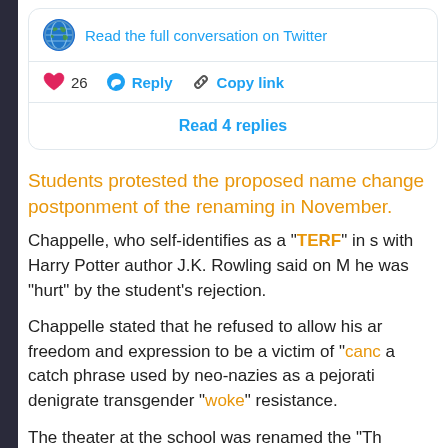[Figure (screenshot): Twitter conversation card with globe emoji, 'Read the full conversation on Twitter' link, heart/like count of 26, Reply button, Copy link button, and 'Read 4 replies' button]
Students protested the proposed name change postponment of the renaming in November.
Chappelle, who self-identifies as a "TERF" in s with Harry Potter author J.K. Rowling said on M he was "hurt" by the student's rejection.
Chappelle stated that he refused to allow his ar freedom and expression to be a victim of "canc a catch phrase used by neo-nazies as a pejorati denigrate transgender "woke" resistance.
The theater at the school was renamed the "Th